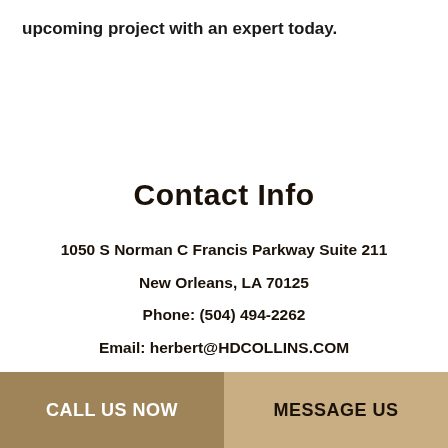upcoming project with an expert today.
Contact Info
1050 S Norman C Francis Parkway Suite 211
New Orleans, LA 70125
Phone: (504) 494-2262
Email: herbert@HDCOLLINS.COM
Mon - Fri: 8:00AM - 5:00PM
CALL US NOW
MESSAGE US